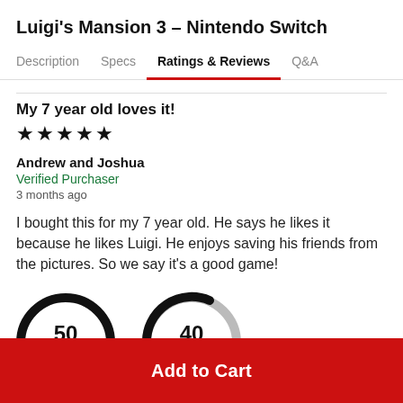Luigi's Mansion 3 – Nintendo Switch
Description | Specs | Ratings & Reviews | Q&A
My 7 year old loves it!
★★★★★
Andrew and Joshua
Verified Purchaser
3 months ago
I bought this for my 7 year old. He says he likes it because he likes Luigi. He enjoys saving his friends from the pictures. So we say it's a good game!
[Figure (other): Two partially visible semicircular gauge/dial graphics showing numbers 50 and 40]
Add to Cart